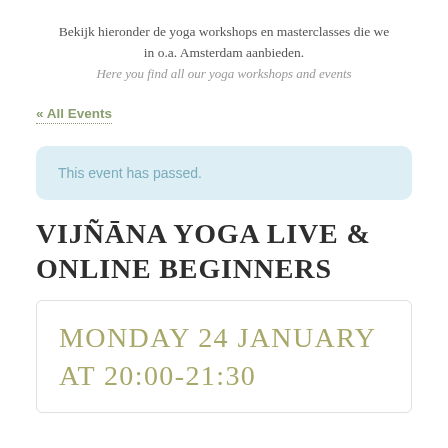Bekijk hieronder de yoga workshops en masterclasses die we in o.a. Amsterdam aanbieden.
Here you find all our yoga workshops and events
« All Events
This event has passed.
VIJÑĀNA YOGA LIVE & ONLINE BEGINNERS
MONDAY 24 JANUARY AT 20:00-21:30